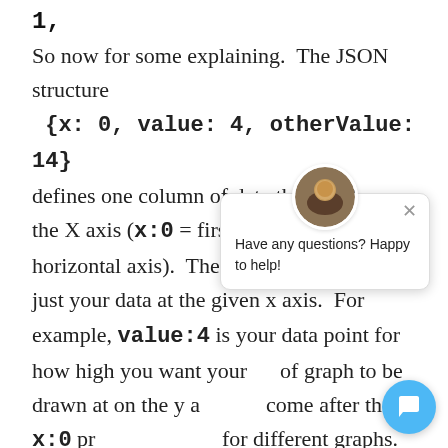1,
So now for some explaining.  The JSON structure {x: 0, value: 4, otherValue: 14} defines one column of data that resides on the X axis (x:0 = first X position on the horizontal axis).  The rest of the structure is just your data at the given x axis.  For example, value:4 is your data point for how high you want your [of graph to be drawn at on the y a[xis.  The values that come after the x:0 pr[operty are the Y values for different graphs. S[o otherValue:14 would be another graphs Y axis data point.  You can list many values after the first x axis point, but ju[st be weary as too many will cause your data to become
[Figure (screenshot): Chat popup overlay with avatar photo, close button (×), and text 'Have any questions? Happy to help!', plus a blue circular chat button in the bottom right corner.]